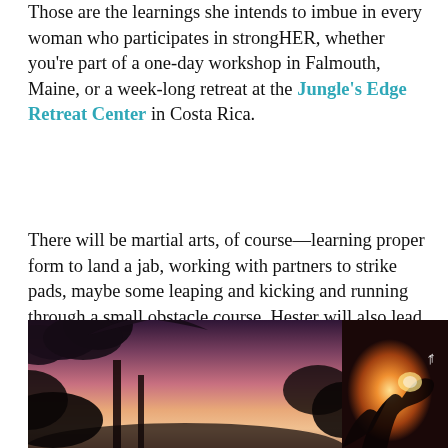Those are the learnings she intends to imbue in every woman who participates in strongHER, whether you're part of a one-day workshop in Falmouth, Maine, or a week-long retreat at the Jungle's Edge Retreat Center in Costa Rica.
There will be martial arts, of course—learning proper form to land a jab, working with partners to strike pads, maybe some leaping and kicking and running through a small obstacle course. Hester will also lead some guided meditation and mindset work, and you'll begin learning how to master your own mind "so it works for you, not against you," Hester said. More importantly, it's a chance to "leave behind limitations, lies, fears, and doubts and replace them with a genuine rediscovery of inner strength and personal power."
[Figure (photo): Two photos side by side at the bottom of the page. Left photo: tropical sunset with silhouettes of palm trees and lush foliage against a pink and purple sky. Right photo: person holding a glowing lantern or light ball against a warm orange sunset background.]